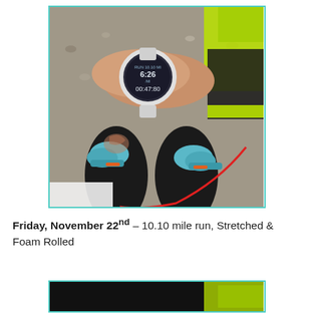[Figure (photo): Photo taken from runner's perspective looking down at feet in blue/teal running shoes on a gravel surface. Runner is wearing black tights and a neon yellow/green reflective vest. A GPS running watch (white/silver) on the wrist shows running data. Red headphone cable visible. Watch display shows distance and time data.]
Friday, November 22nd – 10.10 mile run, Stretched & Foam Rolled
[Figure (photo): Partial photo showing dark background with neon yellow/green color visible, likely continuation of running apparel photo.]